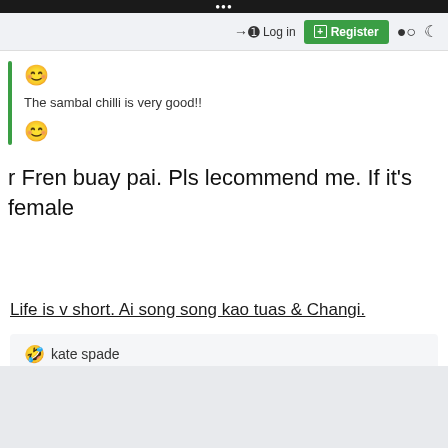Login  Register
😊
The sambal chilli is very good!!
😊
r Fren buay pai. Pls lecommend me. If it's female
Life is v short. Ai song song kao tuas & Changi.
🤣 kate spade